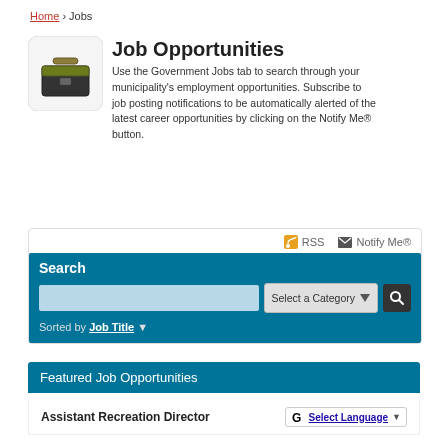Home › Jobs
Job Opportunities
Use the Government Jobs tab to search through your municipality's employment opportunities. Subscribe to job posting notifications to be automatically alerted of the latest career opportunities by clicking on the Notify Me® button.
[Figure (screenshot): Job opportunities search interface with RSS and Notify Me links, a search bar with category dropdown and search button, and sorted by Job Title option]
Featured Job Opportunities
Assistant Recreation Director